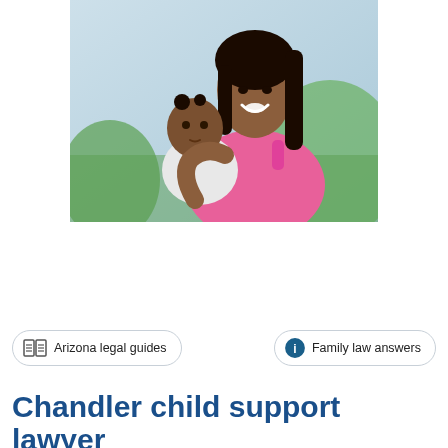[Figure (photo): A smiling Black woman in a pink top holding a baby dressed in white, both looking toward the camera, with green foliage in the background.]
LEARN MORE...
Arizona legal guides
Family law answers
Chandler child support lawyer